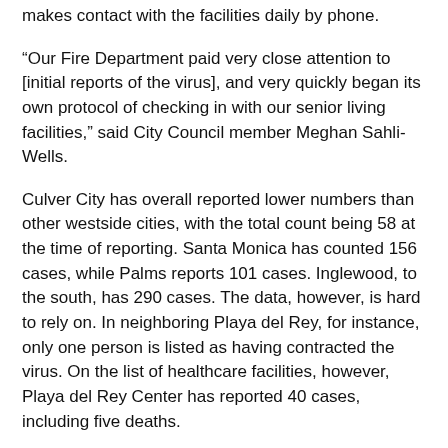makes contact with the facilities daily by phone.
“Our Fire Department paid very close attention to [initial reports of the virus], and very quickly began its own protocol of checking in with our senior living facilities,” said City Council member Meghan Sahli-Wells.
Culver City has overall reported lower numbers than other westside cities, with the total count being 58 at the time of reporting. Santa Monica has counted 156 cases, while Palms reports 101 cases. Inglewood, to the south, has 290 cases. The data, however, is hard to rely on. In neighboring Playa del Rey, for instance, only one person is listed as having contracted the virus. On the list of healthcare facilities, however, Playa del Rey Center has reported 40 cases, including five deaths.
The reason for Culver City’s lower infection rate is hard to pin down, but many around the world have applauded California’s quick response to the virus by being one of the first states to implement stay at home orders. Still, Los Angeles cases are